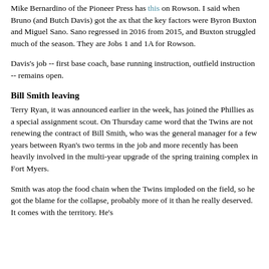Mike Bernardino of the Pioneer Press has this on Rowson. I said when Bruno (and Butch Davis) got the ax that the key factors were Byron Buxton and Miguel Sano. Sano regressed in 2016 from 2015, and Buxton struggled much of the season. They are Jobs 1 and 1A for Rowson.
Davis's job -- first base coach, base running instruction, outfield instruction -- remains open.
Bill Smith leaving
Terry Ryan, it was announced earlier in the week, has joined the Phillies as a special assignment scout. On Thursday came word that the Twins are not renewing the contract of Bill Smith, who was the general manager for a few years between Ryan's two terms in the job and more recently has been heavily involved in the multi-year upgrade of the spring training complex in Fort Myers.
Smith was atop the food chain when the Twins imploded on the field, so he got the blame for the collapse, probably more of it than he really deserved. It comes with the territory. He's